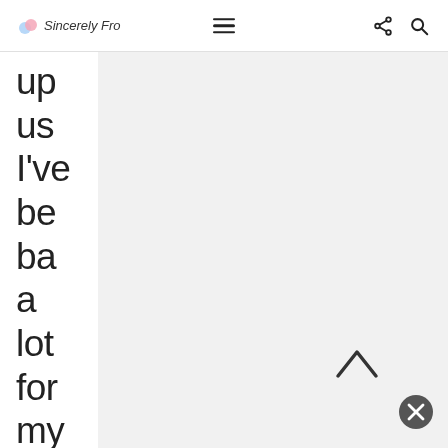Sincerely Fro [logo] [hamburger menu] [share icon] [search icon]
up us I've be ba a lot for my fam an it's alw fun to thi